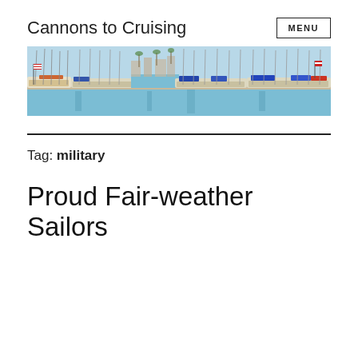Cannons to Cruising
[Figure (photo): Wide panoramic photo of a marina with many sailboats moored in rows, calm blue water reflecting the masts, palm trees and buildings in the background, taken on a sunny day.]
Tag: military
Proud Fair-weather Sailors